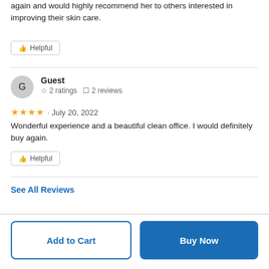again and would highly recommend her to others interested in improving their skin care.
Helpful
Guest
☆ 2 ratings  ☐ 2 reviews
★★★★  · July 20, 2022
Wonderful experience and a beautiful clean office. I would definitely buy again.
Helpful
See All Reviews
Add to Cart
Buy Now